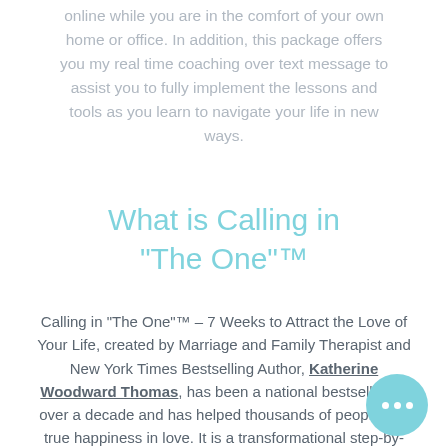online while you are in the comfort of your own home or office. In addition, this package offers you my real time coaching over text message to assist you to fully implement the lessons and tools as you learn to navigate your life in new ways.
What is Calling in "The One"™
Calling in "The One"™ – 7 Weeks to Attract the Love of Your Life, created by Marriage and Family Therapist and New York Times Bestselling Author, Katherine Woodward Thomas, has been a national bestseller for over a decade and has helped thousands of people find true happiness in love. It is a transformational step-by-step program that helps you understand truth of who are, your patterns in love, obstacles that block you from finding fulfilling love, and how to become